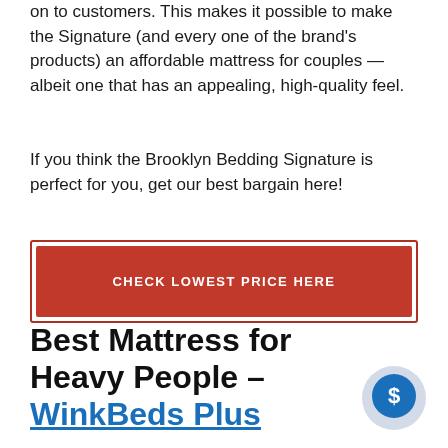on to customers. This makes it possible to make the Signature (and every one of the brand's products) an affordable mattress for couples — albeit one that has an appealing, high-quality feel.
If you think the Brooklyn Bedding Signature is perfect for you, get our best bargain here!
CHECK LOWEST PRICE HERE
Best Mattress for Heavy People – WinkBeds Plus